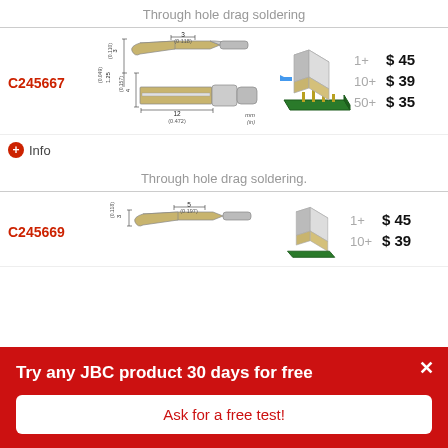Through hole drag soldering
C245667
[Figure (engineering-diagram): Technical drawing of C245667 soldering tip with dimensions: 3mm (0.118in) width, 3 (0.110in) height, 1.25 (0.049in), 4 (0.157in), 12 (0.472in), with 3D illustration of tip on PCB board]
1+  $ 45
10+  $ 39
50+  $ 35
Info
Through hole drag soldering.
C245669
[Figure (engineering-diagram): Partial technical drawing of C245669 soldering tip with dimensions: 5mm (0.197in), 3 (0.118in), with partial 3D illustration]
1+  $ 45
10+  $ 39
Try any JBC product 30 days for free
Ask for a free test!